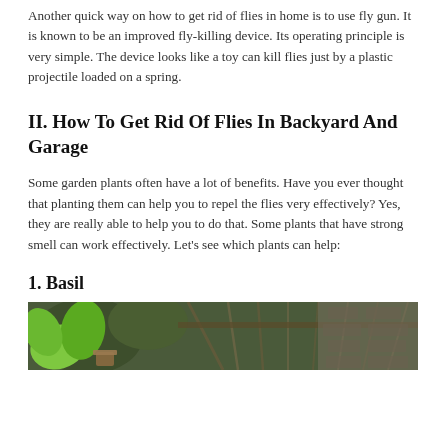Another quick way on how to get rid of flies in home is to use fly gun. It is known to be an improved fly-killing device. Its operating principle is very simple. The device looks like a toy can kill flies just by a plastic projectile loaded on a spring.
II. How To Get Rid Of Flies In Backyard And Garage
Some garden plants often have a lot of benefits. Have you ever thought that planting them can help you to repel the flies very effectively? Yes, they are really able to help you to do that. Some plants that have strong smell can work effectively. Let's see which plants can help:
1. Basil
[Figure (photo): Photo of basil plant and a garden structure or greenhouse in the background]